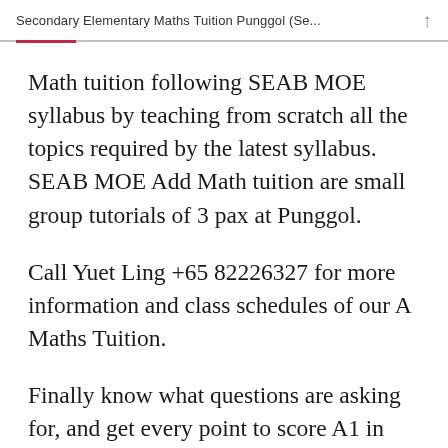Secondary Elementary Maths Tuition Punggol (Se...
Math tuition following SEAB MOE syllabus by teaching from scratch all the topics required by the latest syllabus. SEAB MOE Add Math tuition are small group tutorials of 3 pax at Punggol.
Call Yuet Ling +65 82226327 for more information and class schedules of our A Maths Tuition.
Finally know what questions are asking for, and get every point to score A1 in your GCE O levels A Maths examinations.